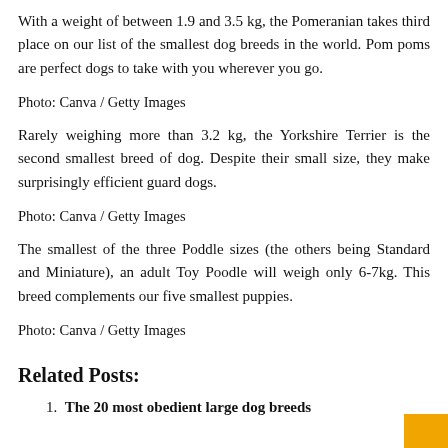With a weight of between 1.9 and 3.5 kg, the Pomeranian takes third place on our list of the smallest dog breeds in the world. Pom poms are perfect dogs to take with you wherever you go.
Photo: Canva / Getty Images
Rarely weighing more than 3.2 kg, the Yorkshire Terrier is the second smallest breed of dog. Despite their small size, they make surprisingly efficient guard dogs.
Photo: Canva / Getty Images
The smallest of the three Poddle sizes (the others being Standard and Miniature), an adult Toy Poodle will weigh only 6-7kg. This breed complements our five smallest puppies.
Photo: Canva / Getty Images
Related Posts:
The 20 most obedient large dog breeds